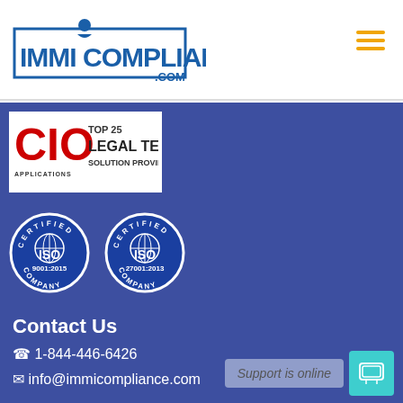[Figure (logo): ImmiCompliance.com logo with blue text and border, circle icon with person above]
[Figure (logo): CIO Applications Top 25 Legal Tech Solution Providers 2019 badge]
[Figure (logo): ISO 9001:2015 Certified Company badge]
[Figure (logo): ISO 27001:2013 Certified Company badge]
Contact Us
1-844-446-6426
info@immicompliance.com
Support is online